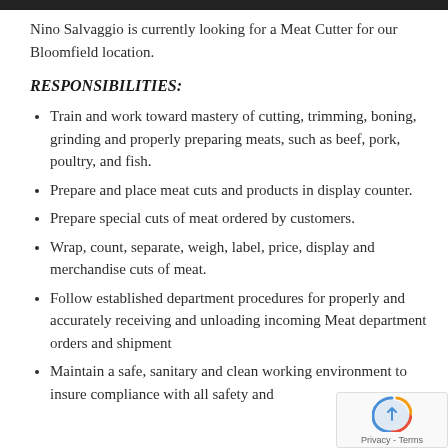Nino Salvaggio is currently looking for a Meat Cutter for our Bloomfield location.
RESPONSIBILITIES:
Train and work toward mastery of cutting, trimming, boning, grinding and properly preparing meats, such as beef, pork, poultry, and fish.
Prepare and place meat cuts and products in display counter.
Prepare special cuts of meat ordered by customers.
Wrap, count, separate, weigh, label, price, display and merchandise cuts of meat.
Follow established department procedures for properly and accurately receiving and unloading incoming Meat department orders and shipments.
Maintain a safe, sanitary and clean working environment to insure compliance with all safety and